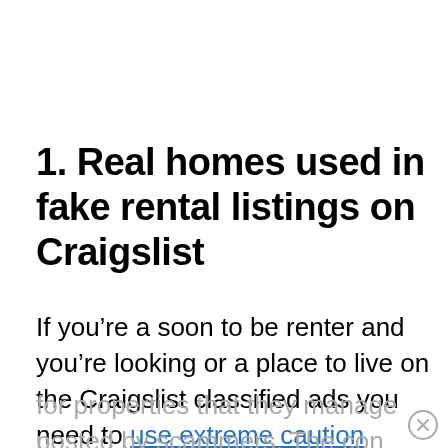1. Real homes used in fake rental listings on Craigslist
If you’re a soon to be renter and you’re looking or a place to live on the Craigslist classified ads you need to use extreme caution before proceeding. Full Sail Realty has discovered several fake ads for properties that they manage posted by scammers. The con artists are